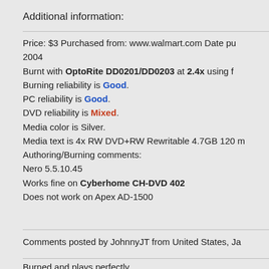Additional information:
Price: $3 Purchased from: www.walmart.com Date pu... 2004
Burnt with OptoRite DD0201/DD0203 at 2.4x using f...
Burning reliability is Good.
PC reliability is Good.
DVD reliability is Mixed.
Media color is Silver.
Media text is 4x RW DVD+RW Rewritable 4.7GB 120 m...
Authoring/Burning comments:
Nero 5.5.10.45
Works fine on Cyberhome CH-DVD 402
Does not work on Apex AD-1500
Comments posted by JohnnyJT from United States, Ja...
Burned and plays perfectly